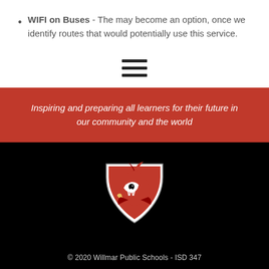WIFI on Buses - The may become an option, once we identify routes that would potentially use this service.
[Figure (other): Hamburger menu icon — three horizontal black bars]
Inspiring and preparing all learners for their future in our community and the world
[Figure (logo): Willmar Public Schools Cardinal mascot logo — red cardinal bird head facing left with a stylized W, on a shield shape, white and red on black background]
© 2020 Willmar Public Schools - ISD 347